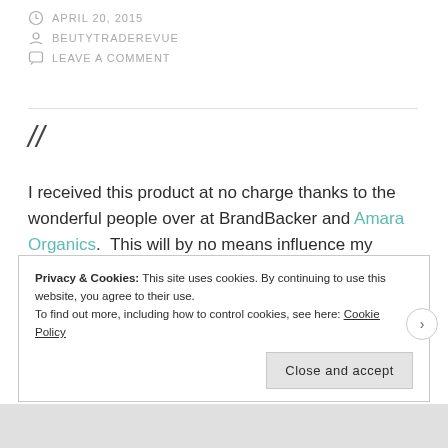APRIL 20, 2015
BEUTYTRADEREVUE
LEAVE A COMMENT
//
I received this product at no charge thanks to the wonderful people over at BrandBacker and Amara Organics.  This will by no means influence my opinion, review or rating of the product you see featured below.
Privacy & Cookies: This site uses cookies. By continuing to use this website, you agree to their use.
To find out more, including how to control cookies, see here: Cookie Policy
Close and accept